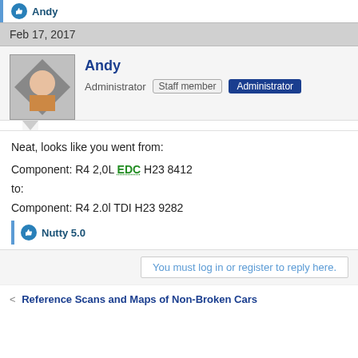Andy
Feb 17, 2017
Andy
Administrator  Staff member  Administrator
Neat, looks like you went from:
Component: R4 2,0L EDC H23 8412
to:
Component: R4 2.0l TDI H23 9282
Nutty 5.0
You must log in or register to reply here.
Reference Scans and Maps of Non-Broken Cars